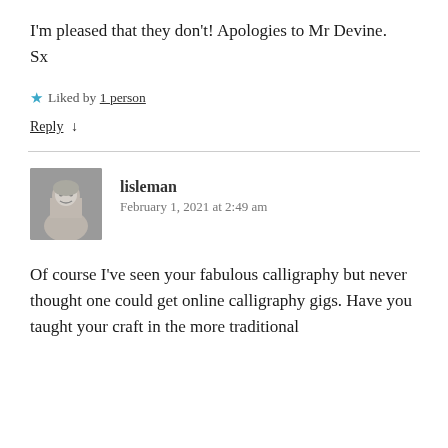I'm pleased that they don't! Apologies to Mr Devine.
Sx
★ Liked by 1 person
Reply ↓
lisleman
February 1, 2021 at 2:49 am
Of course I've seen your fabulous calligraphy but never thought one could get online calligraphy gigs. Have you taught your craft in the more traditional